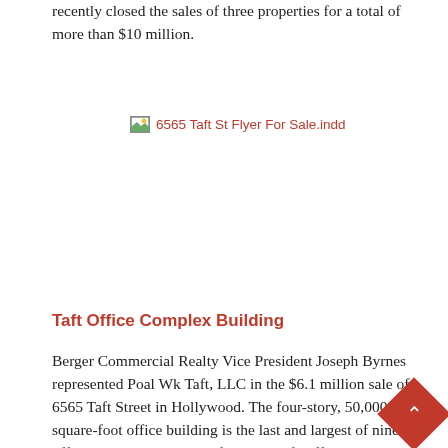recently closed the sales of three properties for a total of more than $10 million.
[Figure (other): Image placeholder for 6565 Taft St Flyer For Sale.indd]
Taft Office Complex Building
Berger Commercial Realty Vice President Joseph Byrnes represented Poal Wk Taft, LLC in the $6.1 million sale of 6565 Taft Street in Hollywood. The four-story, 50,000-square-foot office building is the last and largest of nine office buildings to be sold from the Taft Office Complex, which spans several blocks from 6363 to 6565 Taft St.    Built in the late 1980s, the building is currently 90 percent occupied. Infinity Insurance, City College and the United States government are key tenants.  "This a drew a great deal of interest from the moment we put it on th